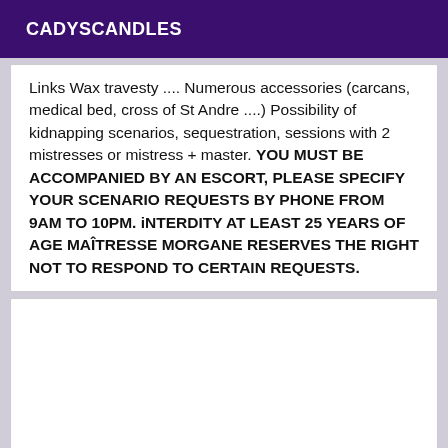CADYSCANDLES
Links Wax travesty .... Numerous accessories (carcans, medical bed, cross of St Andre ....) Possibility of kidnapping scenarios, sequestration, sessions with 2 mistresses or mistress + master. YOU MUST BE ACCOMPANIED BY AN ESCORT, PLEASE SPECIFY YOUR SCENARIO REQUESTS BY PHONE FROM 9AM TO 10PM. iNTERDITY AT LEAST 25 YEARS OF AGE MAÎTRESSE MORGANE RESERVES THE RIGHT NOT TO RESPOND TO CERTAIN REQUESTS.
[Figure (other): Empty white box, no content visible]